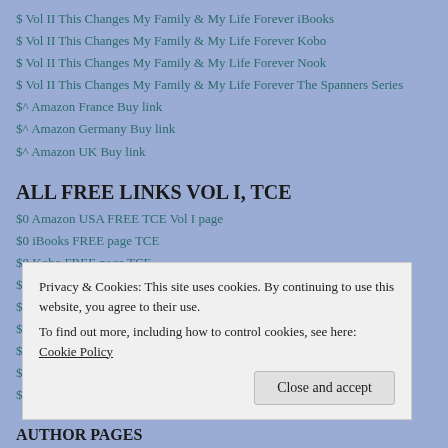$ Vol II This Changes My Family & My Life Forever iBooks
$ Vol II This Changes My Family & My Life Forever Kobo
$ Vol II This Changes My Family & My Life Forever Nook
$ Vol II This Changes My Family & My Life Forever The Spanners Series
$^ Amazon France Buy link
$^ Amazon Germany Buy link
$^ Amazon UK Buy link
ALL FREE LINKS VOL I, TCE
$0 Amazon USA FREE TCE Vol I page
$0 iBooks FREE page TCE
$0 Kobo FREE page TCE
$0 nook FREE page TCE
$0 Smashwords all formats FREE page TCE
Privacy & Cookies: This site uses cookies. By continuing to use this website, you agree to their use.
To find out more, including how to control cookies, see here: Cookie Policy
Close and accept
AUTHOR PAGES